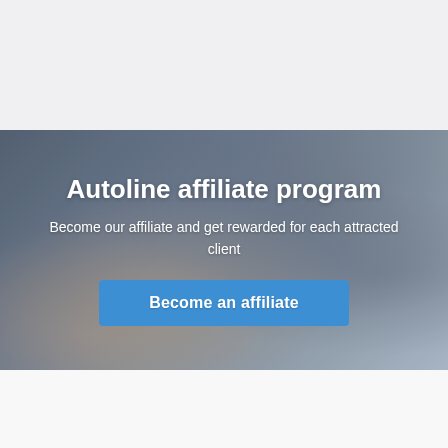[Figure (photo): Light gray top bar section, part of a webpage header area]
[Figure (photo): Hero banner with blurred background image of a business handshake scene with blue-dark overlay. Contains headline, subtitle text, and a call-to-action button.]
Autoline affiliate program
Become our affiliate and get rewarded for each attracted client
Become an affiliate
[Figure (photo): Light gray/white bottom section of the webpage]